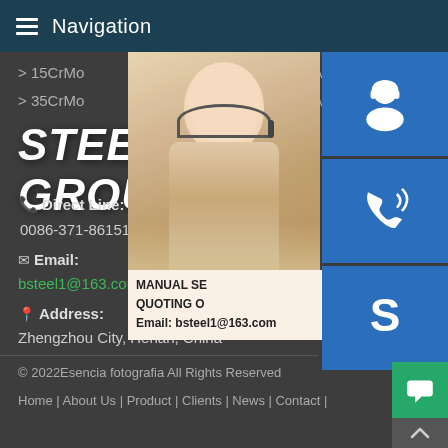Navigation
> 15CrMo
> 35CrMo
> 30CrMo
> 42CrMo
STEEL GROUP
Direct Line: 0086-371-86151827
Email: bsteel1@163.com
Address: Zhengzhou City, Henan, China
[Figure (photo): Customer service representative (woman with headset) with blue contact icons on the right side (chat/headset icon, phone icon, Skype icon) and a popup banner showing MANUAL SE... QUOTING O... Email: bsteel1@163.com]
© 2022Esencia fotografia All Rights Reserved
Home | About Us | Product | Clients | News | Contact |